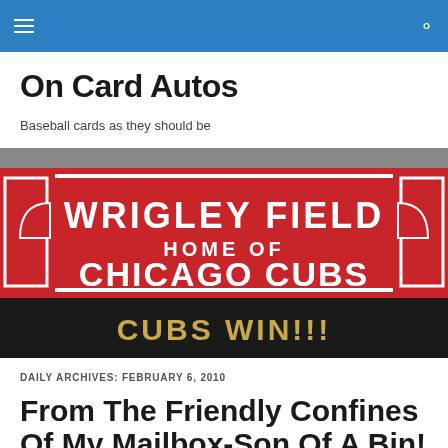≡  🔍
On Card Autos
Baseball cards as they should be
[Figure (photo): Photo of the Wrigley Field marquee sign showing 'WRIGLEY FIELD HOME OF CHICAGO CUBS' in white letters on red background, with 'CUBS WIN!!!' on the black marquee below.]
DAILY ARCHIVES: FEBRUARY 6, 2010
From The Friendly Confines Of My Mailbox-Son Of A Bin!